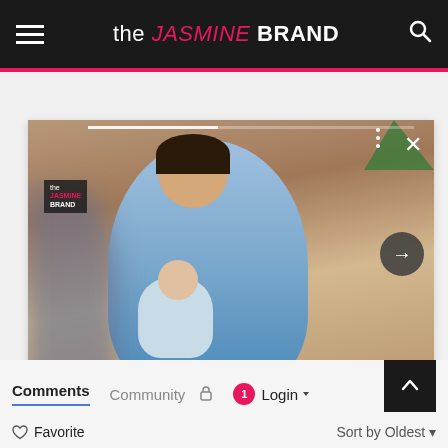the JASMINE BRAND
[Figure (photo): Woman holding a baby, seated, wearing denim shirt. Article preview card with article photo and headline overlay.]
Meghan Markle Reflects On The Time Royal Duties Once Forced Her To Leave 4-Month-Old So...
Comments  Community  Login
♡ Favorite    Sort by Oldest